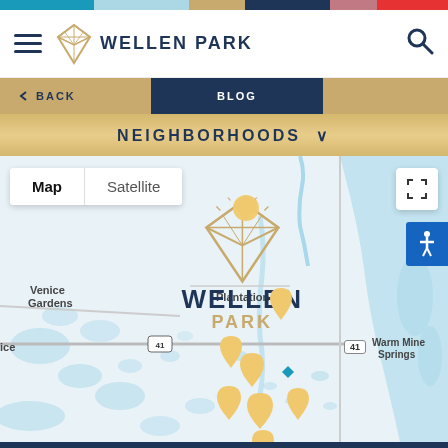[Figure (screenshot): Wellen Park website screenshot showing navigation header with hamburger menu, Wellen Park logo with geometric diamond icon, search icon, color bar at top, sub-navigation with BACK and BLOG, Neighborhoods dropdown bar, and a Google Map showing the Wellen Park development area in Florida with multiple gold location pins, Map/Satellite toggle, fullscreen button, accessibility button, and Wellen Park branding overlaid on the map with Venice Gardens, Plantation, Warm Mineral Springs labeled.]